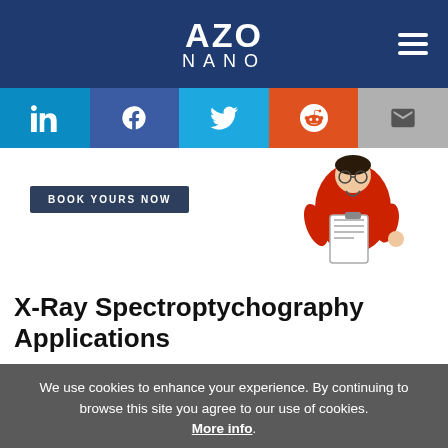AZO NANO
[Figure (screenshot): Social sharing bar with LinkedIn, Facebook, Twitter, Reddit, and Email icons on colored backgrounds]
[Figure (illustration): Promotional banner with 'BOOK YOURS NOW' button and illustration of a person in a red coat holding a clipboard/tablet]
X-Ray Spectroptychography Applications
We use cookies to enhance your experience. By continuing to browse this site you agree to our use of cookies. More info.
✓ Accept   Cookie Settings